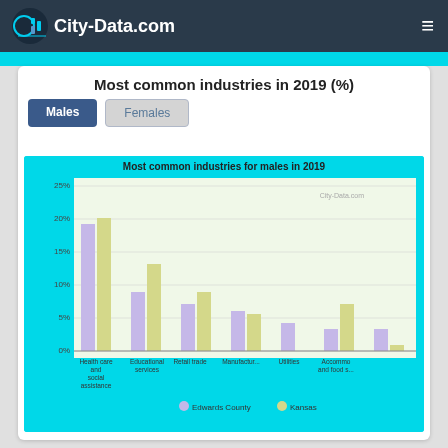City-Data.com
Most common industries in 2019 (%)
Males | Females (tabs)
[Figure (grouped-bar-chart): Most common industries for males in 2019]